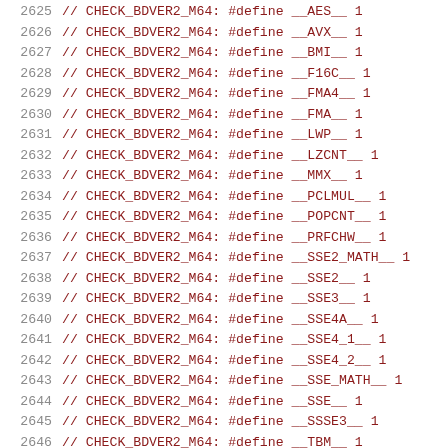2625 // CHECK_BDVER2_M64: #define __AES__ 1
2626 // CHECK_BDVER2_M64: #define __AVX__ 1
2627 // CHECK_BDVER2_M64: #define __BMI__ 1
2628 // CHECK_BDVER2_M64: #define __F16C__ 1
2629 // CHECK_BDVER2_M64: #define __FMA4__ 1
2630 // CHECK_BDVER2_M64: #define __FMA__ 1
2631 // CHECK_BDVER2_M64: #define __LWP__ 1
2632 // CHECK_BDVER2_M64: #define __LZCNT__ 1
2633 // CHECK_BDVER2_M64: #define __MMX__ 1
2634 // CHECK_BDVER2_M64: #define __PCLMUL__ 1
2635 // CHECK_BDVER2_M64: #define __POPCNT__ 1
2636 // CHECK_BDVER2_M64: #define __PRFCHW__ 1
2637 // CHECK_BDVER2_M64: #define __SSE2_MATH__ 1
2638 // CHECK_BDVER2_M64: #define __SSE2__ 1
2639 // CHECK_BDVER2_M64: #define __SSE3__ 1
2640 // CHECK_BDVER2_M64: #define __SSE4A__ 1
2641 // CHECK_BDVER2_M64: #define __SSE4_1__ 1
2642 // CHECK_BDVER2_M64: #define __SSE4_2__ 1
2643 // CHECK_BDVER2_M64: #define __SSE_MATH__ 1
2644 // CHECK_BDVER2_M64: #define __SSE__ 1
2645 // CHECK_BDVER2_M64: #define __SSSE3__ 1
2646 // CHECK_BDVER2_M64: #define __TBM__ 1